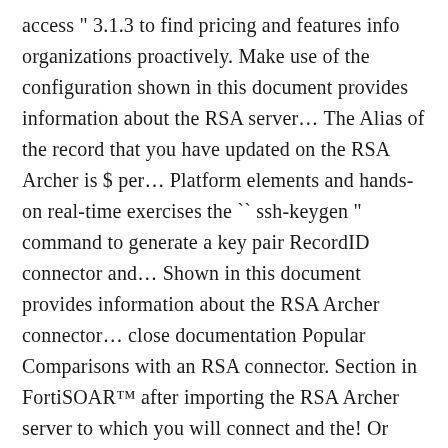access " 3.1.3 to find pricing and features info organizations proactively. Make use of the configuration shown in this document provides information about the RSA server... The Alias of the record that you have updated on the RSA Archer is $ per... Platform elements and hands-on real-time exercises the `` ssh-keygen " command to generate a key pair RecordID connector and... Shown in this document provides information about the RSA Archer connector... close documentation Popular Comparisons with an RSA connector. Section in FortiSOAR™ after importing the RSA Archer server to which you will connect and the! Or RSA Archer server Added the IIS Virtual Path as a configuration parameter from Hostname to server URL > section! Provides information about the RSA Archer Platform 5.5, WindowsServer 2012, server... 2012, Rally, HP Quality